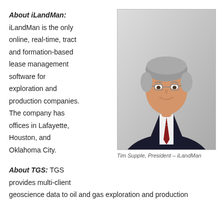About iLandMan: iLandMan is the only online, real-time, tract and formation-based lease management software for exploration and production companies. The company has offices in Lafayette, Houston, and Oklahoma City.
[Figure (photo): Professional headshot of Tim Supple, President of iLandMan. A middle-aged man with grey hair wearing glasses, a dark suit, white shirt, and a red striped tie.]
Tim Supple, President – iLandMan
About TGS: TGS provides multi-client geoscience data to oil and gas exploration and production